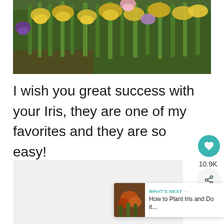[Figure (photo): A garden bed of blooming iris flowers — predominantly yellow irises with some purple irises amid tall green foliage, photographed outdoors in bright sunlight.]
I wish you great success with your Iris, they are one of my favorites and they are so easy!
[Figure (photo): Thumbnail of iris flowers (orange/brown tones) used for 'What's Next' recommendation panel.]